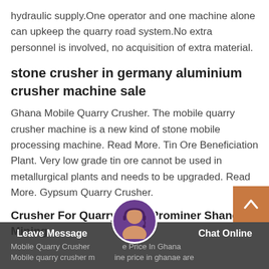hydraulic supply.One operator and one machine alone can upkeep the quarry road system.No extra personnel is involved, no acquisition of extra material.
stone crusher in germany aluminium crusher machine sale
Ghana Mobile Quarry Crusher. The mobile quarry crusher machine is a new kind of stone mobile processing machine. Read More. Tin Ore Beneficiation Plant. Very low grade tin ore cannot be used in metallurgical plants and needs to be upgraded. Read More. Gypsum Quarry Crusher.
Crusher For Quarry Price Prominer Shanghai Mining
Mobile Quarry Crusher Machine Price In Ghana
Mobile quarry crusher machine price in ghanae are
Leave Message   Chat Online